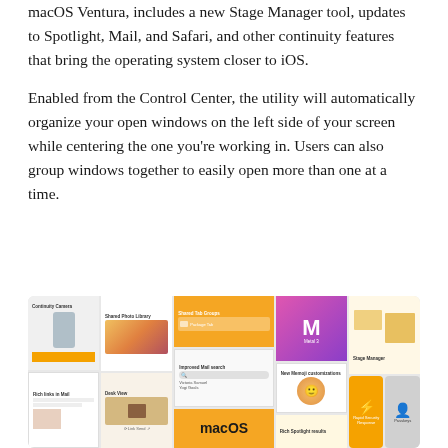macOS Ventura, includes a new Stage Manager tool, updates to Spotlight, Mail, and Safari, and other continuity features that bring the operating system closer to iOS.
Enabled from the Control Center, the utility will automatically organize your open windows on the left side of your screen while centering the one you're working in. Users can also group windows together to easily open more than one at a time.
[Figure (screenshot): Mosaic of macOS Ventura feature tiles including Continuity Camera, Shared Photo Library, Shared Tab Groups, Metal 3, Stage Manager preview, Rich links in Mail, Desk View, Improved Mail search, New Memoji customizations, Stage Manager, macOS logo, Rich Spotlight results, Rapid Security Response, and Passkeys.]